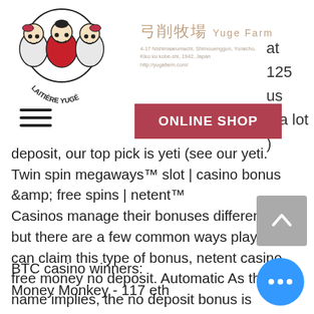[Figure (logo): Laitière Yuge logo with cartoon children characters in red]
[Figure (logo): Yuge Farm Japanese text logo with address and website http://yugafarm.com/]
at
1 25
us
e a lot
)
[Figure (screenshot): Hamburger menu icon (three horizontal lines)]
[Figure (screenshot): ONLINE SHOP button in red/pink]
deposit, our top pick is yeti (see our yeti. Twin spin megaways™ slot | casino bonus &amp; free spins | netent™
Casinos manage their bonuses differently, but there are a few common ways players can claim this type of bonus, netent casino free money no deposit. Automatic As the name implies, the no deposit bonus is automatically added to your account the moment you sign up. Bonus code This method involves entering a unique bonus code to receive your no deposit bonus.
BTC casino winners:
Money Monkey - 117 eth